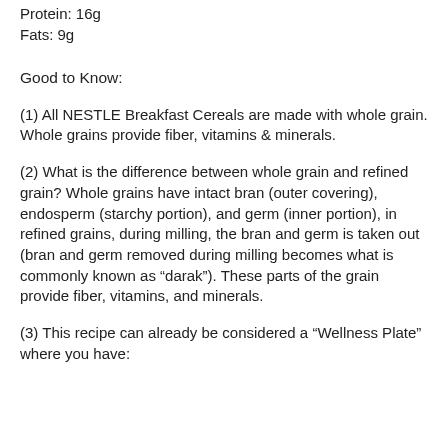Protein: 16g
Fats: 9g
Good to Know:
(1) All NESTLE Breakfast Cereals are made with whole grain. Whole grains provide fiber, vitamins & minerals.
(2) What is the difference between whole grain and refined grain? Whole grains have intact bran (outer covering), endosperm (starchy portion), and germ (inner portion), in refined grains, during milling, the bran and germ is taken out (bran and germ removed during milling becomes what is commonly known as “darak”). These parts of the grain provide fiber, vitamins, and minerals.
(3) This recipe can already be considered a “Wellness Plate” where you have: